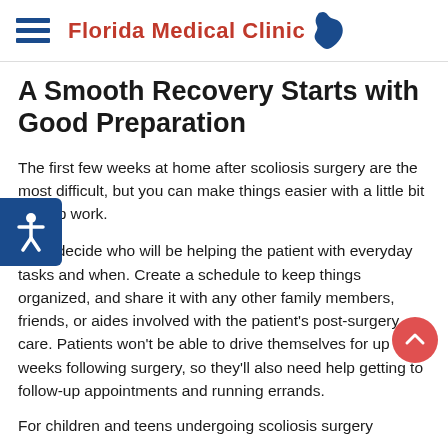Florida Medical Clinic
A Smooth Recovery Starts with Good Preparation
The first few weeks at home after scoliosis surgery are the most difficult, but you can make things easier with a little bit of prep work.
First, decide who will be helping the patient with everyday tasks and when. Create a schedule to keep things organized, and share it with any other family members, friends, or aides involved with the patient’s post-surgery care. Patients won’t be able to drive themselves for up to 8 weeks following surgery, so they’ll also need help getting to follow-up appointments and running errands.
For children and teens undergoing scoliosis surgery